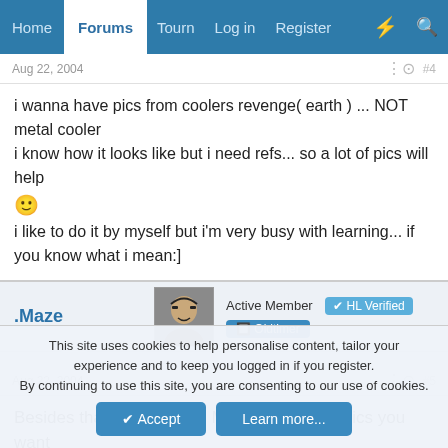Home | Forums | Tourn | Log in | Register
Aug 22, 2004  #4
i wanna have pics from coolers revenge( earth ) ... NOT metal cooler
i know how it looks like but i need refs... so a lot of pics will help :)
i like to do it by myself but i'm very busy with learning... if you know what i mean:]
.Maze  Active Member  ✔ HL Verified  🔲 Oldtimer
Aug 22, 2004  #5
Besides that there were 2 Movies , so what pics you want
This site uses cookies to help personalise content, tailor your experience and to keep you logged in if you register.
By continuing to use this site, you are consenting to our use of cookies.
Accept  Learn more...